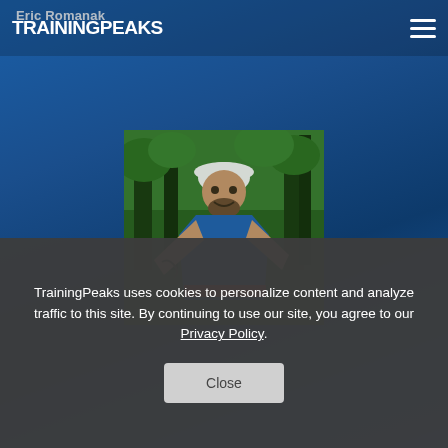[Figure (screenshot): TrainingPeaks website screenshot showing Eric Romanak's profile page with navigation bar, logo, hamburger menu, and profile photo of a man in running attire outdoors in a wooded area]
TrainingPeaks uses cookies to personalize content and analyze traffic to this site. By continuing to use our site, you agree to our Privacy Policy.
Close